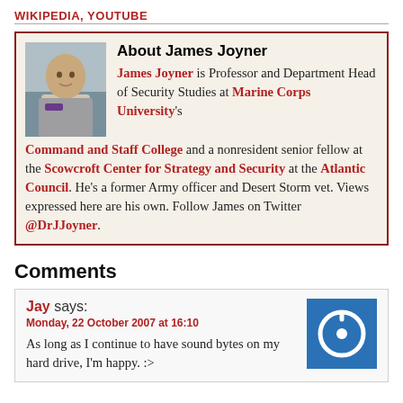WIKIPEDIA, YOUTUBE
About James Joyner
James Joyner is Professor and Department Head of Security Studies at Marine Corps University's Command and Staff College and a nonresident senior fellow at the Scowcroft Center for Strategy and Security at the Atlantic Council. He's a former Army officer and Desert Storm vet. Views expressed here are his own. Follow James on Twitter @DrJJoyner.
Comments
Jay says:
Monday, 22 October 2007 at 16:10
As long as I continue to have sound bytes on my hard drive, I'm happy. :>